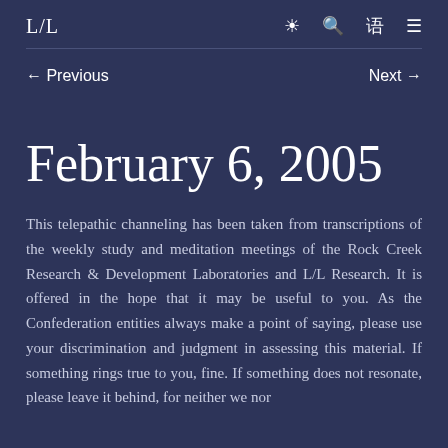L/L
← Previous    Next →
February 6, 2005
This telepathic channeling has been taken from transcriptions of the weekly study and meditation meetings of the Rock Creek Research & Development Laboratories and L/L Research. It is offered in the hope that it may be useful to you. As the Confederation entities always make a point of saying, please use your discrimination and judgment in assessing this material. If something rings true to you, fine. If something does not resonate, please leave it behind, for neither we nor